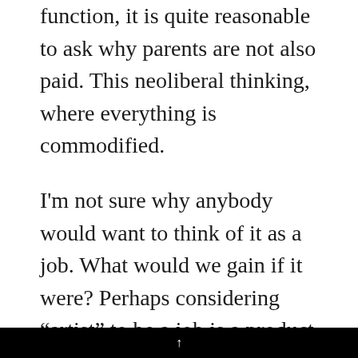function, it is quite reasonable to ask why parents are not also paid. This neoliberal thinking, where everything is commodified.
I'm not sure why anybody would want to think of it as a job. What would we gain if it were? Perhaps considering “artist” to be a job is a product of the same kind of neoliberal thinking that makes us think that being a parent is a job. It is possible that some artists claim that making art is their job, because this somehow implies that they have status and worth: as if your job is the only thing that can do this! Artists make
↑